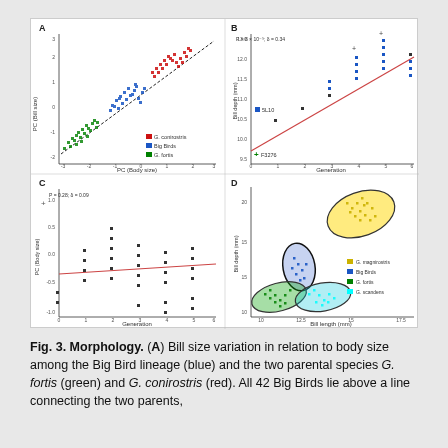[Figure (scatter-plot): Four scatter plots: (A) PC bill size vs PC body size for G. conirostris (red), Big Birds (blue), G. fortis (green); (B) Bill depth (mm) over generations with regression line; (C) PC body size over generations with regression line; (D) Bill depth vs Bill length for G. magnirostris (yellow), Big Birds (blue), G. fortis (green), G. scandens (cyan) with ellipses.]
Fig. 3. Morphology. (A) Bill size variation in relation to body size among the Big Bird lineage (blue) and the two parental species G. fortis (green) and G. conirostris (red). All 42 Big Birds lie above a line connecting the two parents,